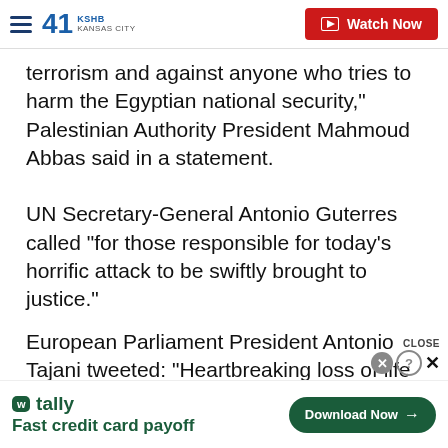41 KSHB KANSAS CITY | Watch Now
terrorism and against anyone who tries to harm the Egyptian national security," Palestinian Authority President Mahmoud Abbas said in a statement.
UN Secretary-General Antonio Guterres called "for those responsible for today's horrific attack to be swiftly brought to justice."
European Parliament President Antonio Tajani tweeted: "Heartbreaking loss of life in the cowardly massacre that took place in Egypt. Acts of barbari...
[Figure (screenshot): Tally app advertisement banner at bottom: 'Fast credit card payoff' with Download Now button]